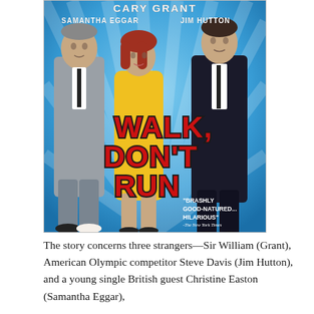[Figure (photo): Movie poster for 'Walk, Don't Run' featuring Cary Grant, Samantha Eggar, and Jim Hutton. Blue background with three actors walking. Large red title text reads 'WALK, DON'T RUN'. Quote at bottom: 'Brashly good-natured... Hilarious' - The New York Times.]
The story concerns three strangers—Sir William (Grant), American Olympic competitor Steve Davis (Jim Hutton), and a young single British guest Christine Easton (Samantha Eggar),